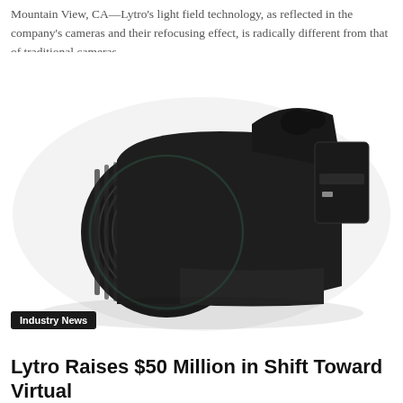Mountain View, CA—Lytro's light field technology, as reflected in the company's cameras and their refocusing effect, is radically different from that of traditional cameras....
[Figure (photo): A black Lytro Illum camera with a large zoom lens, shown at an angle on a white background.]
Industry News
Lytro Raises $50 Million in Shift Toward Virtual